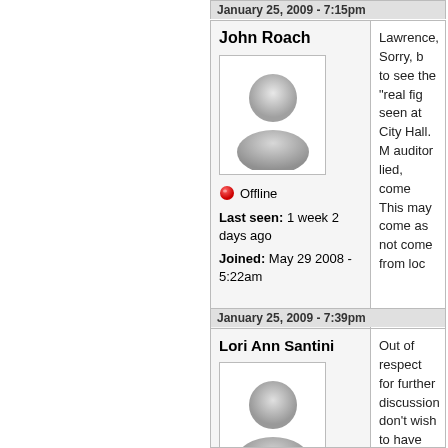January 25, 2009 - 7:39pm (header for John Roach post, partially visible)
John Roach
[Figure (illustration): Generic user avatar: silver/gray person silhouette icon]
Offline
Last seen: 1 week 2 days ago
Joined: May 29 2008 - 5:22am
Lawrence, Sorry, b[...] to see the "real fig[...] seen at City Hall. [...] auditor lied, come[...] This may come as[...] not come from loc[...]
January 25, 2009 - 7:39pm
Lori Ann Santini
[Figure (illustration): Generic user avatar: silver/gray person silhouette icon]
Offline
Out of respect for [...] further discussion [...] don't wish to have[...] other medics or fir[...]